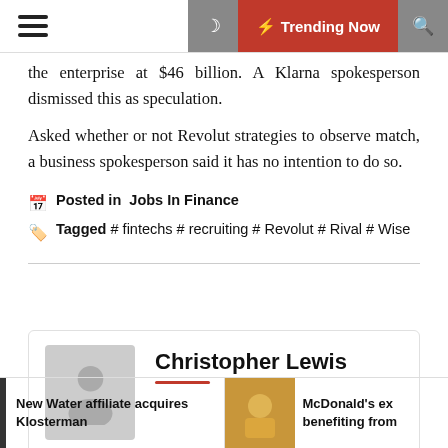Trending Now
the enterprise at $46 billion. A Klarna spokesperson dismissed this as speculation.
Asked whether or not Revolut strategies to observe match, a business spokesperson said it has no intention to do so.
Posted in  Jobs In Finance
Tagged # fintechs # recruiting # Revolut # Rival # Wise
Christopher Lewis
New Water affiliate acquires Klosterman
McDonald’s ex benefiting from